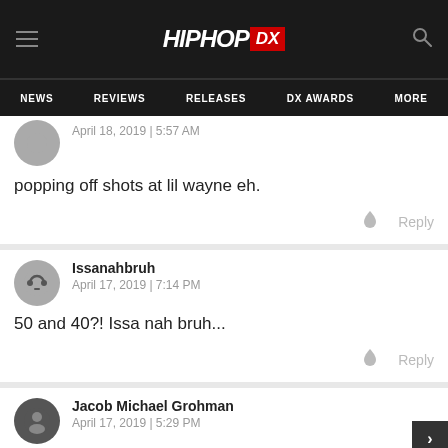HipHopDX
NEWS | REVIEWS | RELEASES | DX AWARDS | MORE
April 18, 2019 | 5:57 AM
popping off shots at lil wayne eh.
Reply
Issanahbruh
April 17, 2019 | 7:14 PM
50 and 40?! Issa nah bruh...
Reply
Jacob Michael Grohman
April 17, 2019 | 5:29 PM